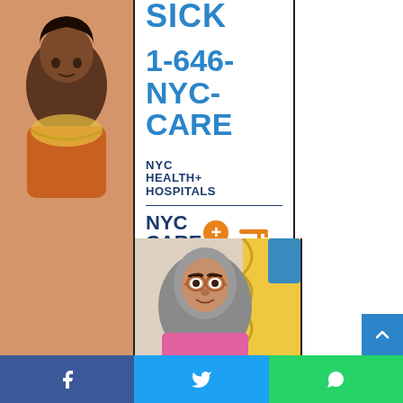[Figure (illustration): Illustrated diverse characters on left strip background - woman with dark skin tone]
SICK
1-646-NYC-CARE
[Figure (logo): NYC Health + Hospitals logo in navy blue text]
[Figure (logo): NYC Care logo with orange plus circle and key icon]
[Figure (illustration): Illustrated woman wearing hijab and glasses, warm skin tone, below the white panel]
[Figure (infographic): Social media share bar with Facebook, Twitter, and WhatsApp buttons at bottom. Scroll-up button on right side.]